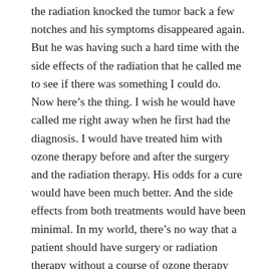the radiation knocked the tumor back a few notches and his symptoms disappeared again. But he was having such a hard time with the side effects of the radiation that he called me to see if there was something I could do. Now here's the thing. I wish he would have called me right away when he first had the diagnosis. I would have treated him with ozone therapy before and after the surgery and the radiation therapy. His odds for a cure would have been much better. And the side effects from both treatments would have been minimal. In my world, there's no way that a patient should have surgery or radiation therapy without a course of ozone therapy before and after. But that bridge was already crossed and so we had to deal with what was at hand. Barry still had brain cancer and he was now sick from